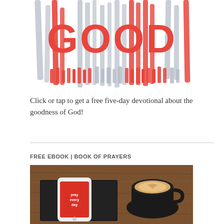[Figure (illustration): Illustrated graphic with the word GOOD in large red letters with decorative red and gray vertical brush strokes around it]
Click or tap to get a free five-day devotional about the goodness of God!
FREE EBOOK | BOOK OF PRAYERS
[Figure (photo): Photo of a smartphone with a red screen showing 'pray every day', placed on a black notebook next to a black coffee cup with latte art on a wooden table]